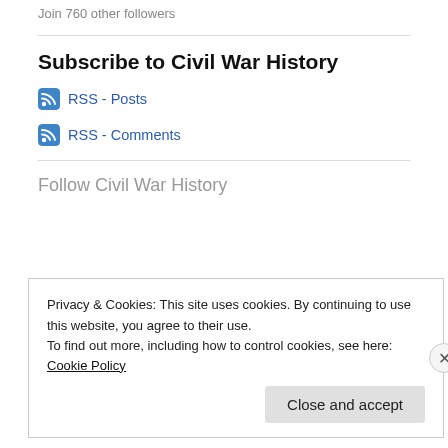Join 760 other followers
Subscribe to Civil War History
RSS - Posts
RSS - Comments
Follow Civil War History
Privacy & Cookies: This site uses cookies. By continuing to use this website, you agree to their use. To find out more, including how to control cookies, see here: Cookie Policy
Close and accept